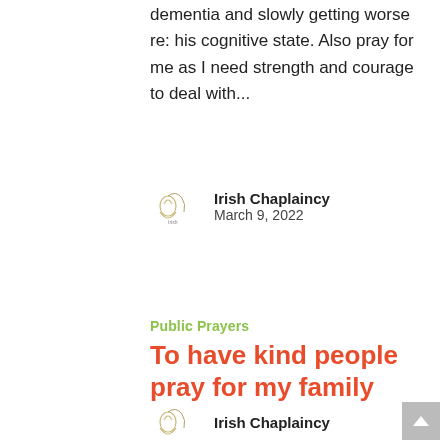dementia and slowly getting worse re: his cognitive state. Also pray for me as I need strength and courage to deal with...
Irish Chaplaincy
March 9, 2022
Public Prayers
To have kind people pray for my family
Please pray for my family who have been betrayed.
Irish Chaplaincy